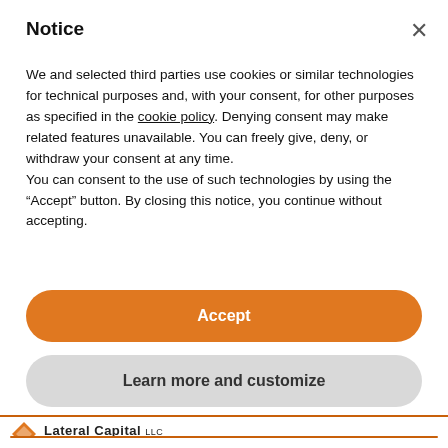Notice
We and selected third parties use cookies or similar technologies for technical purposes and, with your consent, for other purposes as specified in the cookie policy. Denying consent may make related features unavailable. You can freely give, deny, or withdraw your consent at any time.
You can consent to the use of such technologies by using the “Accept” button. By closing this notice, you continue without accepting.
[Figure (other): Orange rounded Accept button]
[Figure (other): Gray rounded Learn more and customize button]
[Figure (logo): Lateral Capital LLC logo with orange diamond shape icon and text 'Micro Venture Capital For Early Stage Companies']